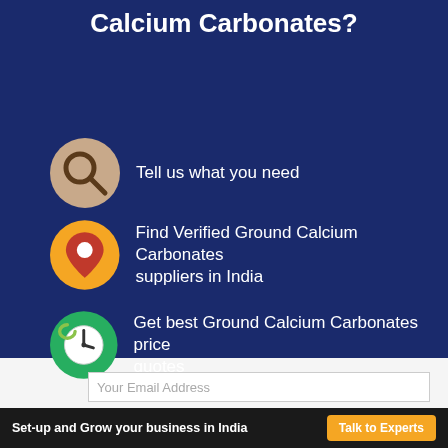Calcium Carbonates?
Tell us what you need
Find Verified Ground Calcium Carbonates suppliers in India
Get best Ground Calcium Carbonates price quotes
Your Email Address
Looking to setup or expand your business in India?
Set-up and Grow your business in India
Talk to Experts